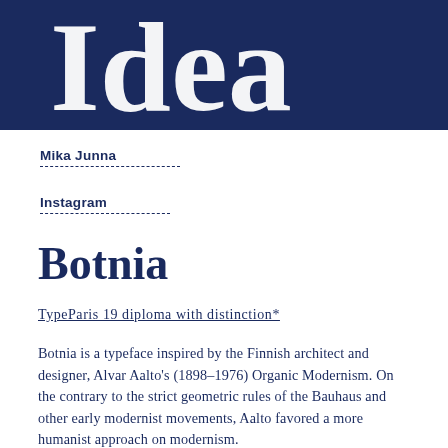[Figure (illustration): Dark navy blue header banner with large white serif text partially visible showing 'Idea' or similar large display text, cropped at top]
Mika Junna
Instagram
Botnia
TypeParis19 diploma with distinction*
Botnia is a typeface inspired by the Finnish architect and designer, Alvar Aalto's (1898–1976) Organic Modernism. On the contrary to the strict geometric rules of the Bauhaus and other early modernist movements, Aalto favored a more humanist approach on modernism.